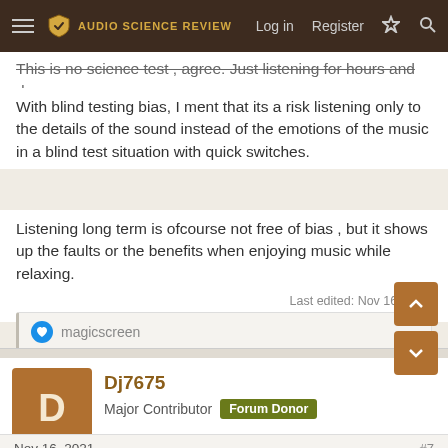Audio Science Review — Log in  Register
This is no science test , agree. Just listening for hours and days.
With blind testing bias, I ment that its a risk listening only to the details of the sound instead of the emotions of the music in a blind test situation with quick switches.
Listening long term is ofcourse not free of bias , but it shows up the faults or the benefits when enjoying music while relaxing.
Last edited: Nov 16, 2021
magicscreen
Dj7675
Major Contributor  Forum Donor
Nov 16, 2021
Tangband said:
This is no science test , agree. Just listening for hours and days.